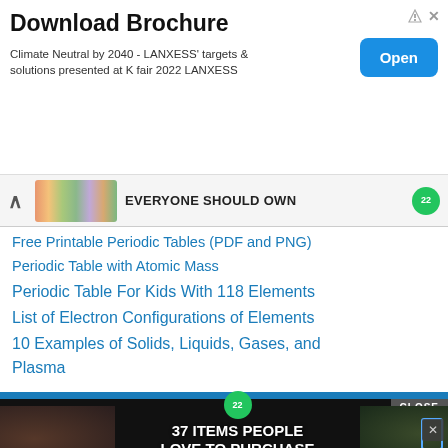[Figure (screenshot): Advertisement banner: 'Download Brochure' with subtitle 'Climate Neutral by 2040 - LANXESS targets & solutions presented at K fair 2022 LANXESS' and an Open button]
[Figure (screenshot): Navigation strip with up caret arrow, colorful thumbnail image, text 'EVERYONE SHOULD OWN' and green badge]
Free Printable Periodic Tables (PDF and PNG)
Periodic Table with Atomic Mass
Periodic Table For Kids With 118 Elements
List of Electron Configurations of Elements
10 Examples of Solids, Liquids, Gases, and Plasma
[Figure (screenshot): Bottom advertisement: dark background with '37 ITEMS PEOPLE LOVE TO PURCHASE ON AMAZON' text, food/kitchen photos, green badge, CLOSE button, X button]